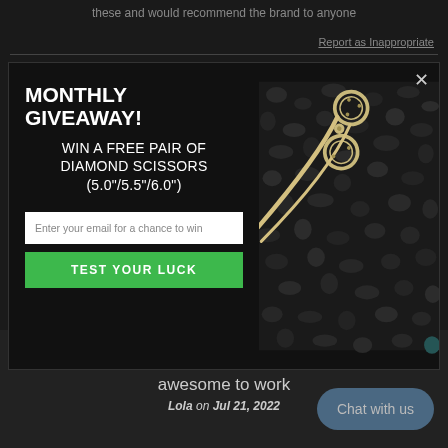these and would recommend the brand to anyone
Report as Inappropriate
MONTHLY GIVEAWAY!
WIN A FREE PAIR OF DIAMOND SCISSORS (5.0"/5.5"/6.0")
Enter your email for a chance to win
TEST YOUR LUCK
[Figure (photo): Gold/silver decorative hair scissors on dark gravel background]
★★★★★
awesome to work
Lola on Jul 21, 2022
Chat with us